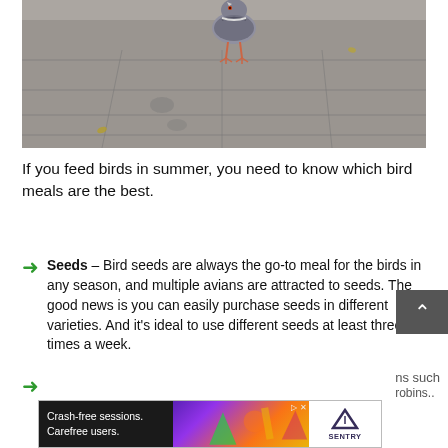[Figure (photo): A pigeon standing on a gray concrete sidewalk with tiled pavement. The bird is viewed from the front.]
If you feed birds in summer, you need to know which bird meals are the best.
Seeds – Bird seeds are always the go-to meal for the birds in any season, and multiple avians are attracted to seeds. The good news is you can easily purchase seeds in different varieties. And it's ideal to use different seeds at least three times a week.
[Figure (screenshot): Advertisement banner: Crash-free sessions. Carefree users. SENTRY logo.]